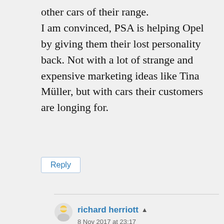other cars of their range.
I am convinced, PSA is helping Opel by giving them their lost personality back. Not with a lot of strange and expensive marketing ideas like Tina Müller, but with cars their customers are longing for.
Reply
richard herriott
8 Nov 2017 at 23:17
The Astra OPC is an odd ommission. The last three were great looking cars. I particularly liked the last generation. I don't see why it